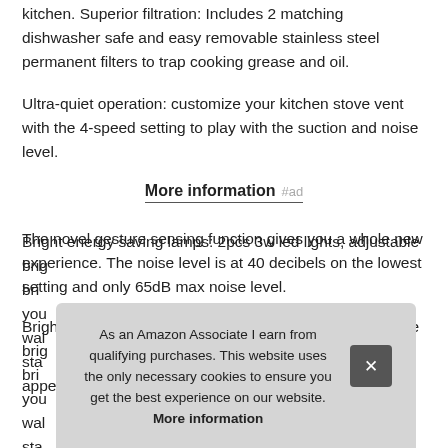kitchen. Superior filtration: Includes 2 matching dishwasher safe and easy removable stainless steel permanent filters to trap cooking grease and oil.
Ultra-quiet operation: customize your kitchen stove vent with the 4-speed setting to play with the suction and noise level.
More information #ad
The novel gesture sensing function gives you a whole new experience. The noise level is at 40 decibels on the lowest setting and only 65dB max noise level.
Bright energy saving lamps: 2pcs 3w led lights, adjustable brig... your... wall... stai... appearance and comes with remote control.
As an Amazon Associate I earn from qualifying purchases. This website uses the only necessary cookies to ensure you get the best experience on our website. More information